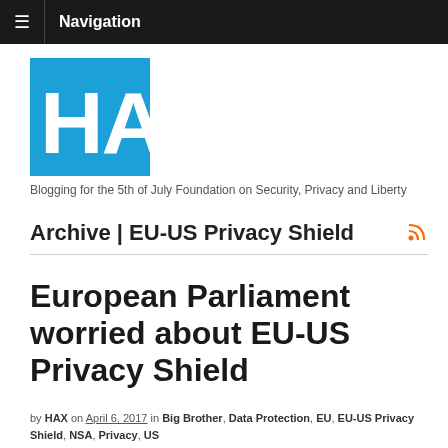≡ Navigation
[Figure (logo): HAX logo — blue rectangle background with white bold text 'HAX']
Blogging for the 5th of July Foundation on Security, Privacy and Liberty
Archive | EU-US Privacy Shield
European Parliament worried about EU-US Privacy Shield
by HAX on April 6, 2017 in Big Brother, Data Protection, EU, EU-US Privacy Shield, NSA, Privacy, US